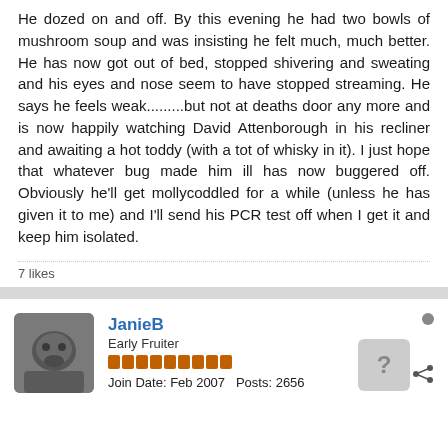He dozed on and off. By this evening he had two bowls of mushroom soup and was insisting he felt much, much better. He has now got out of bed, stopped shivering and sweating and his eyes and nose seem to have stopped streaming. He says he feels weak.........but not at deaths door any more and is now happily watching David Attenborough in his recliner and awaiting a hot toddy (with a tot of whisky in it). I just hope that whatever bug made him ill has now buggered off. Obviously he'll get mollycoddled for a while (unless he has given it to me) and I'll send his PCR test off when I get it and keep him isolated.
7 likes
JanieB
Early Fruiter
Join Date: Feb 2007  Posts: 2656